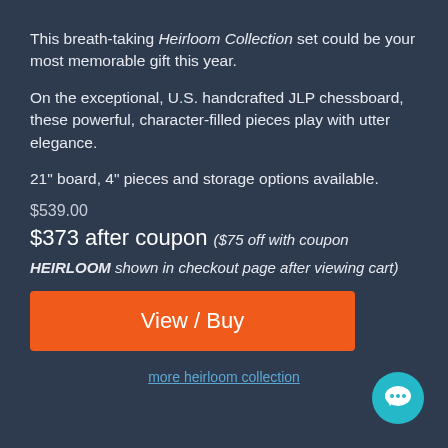This breath-taking Heirloom Collection set could be your most memorable gift this year.
On the exceptional, U.S. handcrafted JLP chessboard, these powerful, character-filled pieces play with utter elegance.
21" board, 4" pieces and storage options available.
$539.00
$373 after coupon ($75 off with coupon HEIRLOOM shown in checkout page after viewing cart)
View / Buy
more heirloom collection